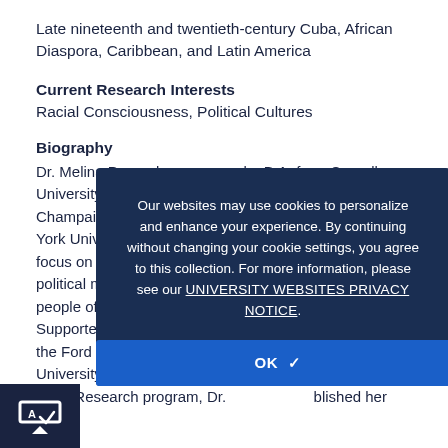Late nineteenth and twentieth-century Cuba, African Diaspora, Caribbean, and Latin America
Current Research Interests
Racial Consciousness, Political Cultures
Biography
Dr. Melina Pappademos earned a B.A. from Cornell University, her M.A. from the University of Illinois at Champaign-Urbana, and her Ph.D. in history from New York University. Her research and teaching interests focus on the social and cultural history of race-based political mobilization, consciousness, and cultural life of people of African descent in Cuba and the Caribbean. Supported by such institutions as New York University, the Ford Foundation, Harvard University, Wesleyan University, and the U.S. Department of State's Fulbright-Hays Research program, Dr. Pappademos published her first
[Figure (other): Cookie consent modal overlay on dark navy background with text: 'Our websites may use cookies to personalize and enhance your experience. By continuing without changing your cookie settings, you agree to this collection. For more information, please see our UNIVERSITY WEBSITES PRIVACY NOTICE.' with an OK button.]